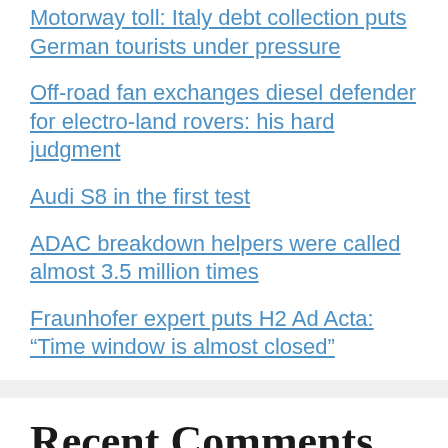Motorway toll: Italy debt collection puts German tourists under pressure
Off-road fan exchanges diesel defender for electro-land rovers: his hard judgment
Audi S8 in the first test
ADAC breakdown helpers were called almost 3.5 million times
Fraunhofer expert puts H2 Ad Acta: “Time window is almost closed”
Recent Comments
Michael Muller on AMG EQE 43-53: Mercedes subsidiary Tunt the electric E-Class